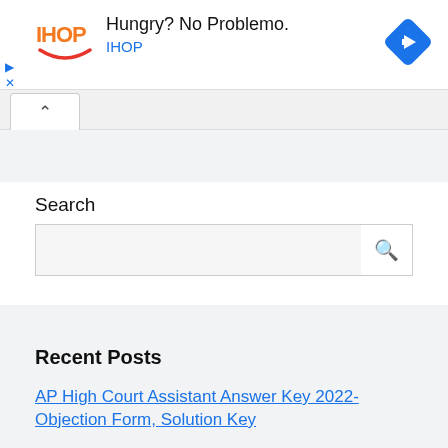[Figure (other): IHOP advertisement banner: IHOP logo on left, 'Hungry? No Problemo.' headline, 'IHOP' brand link, blue diamond navigation icon on right]
Search
Recent Posts
AP High Court Assistant Answer Key 2022- Objection Form, Solution Key